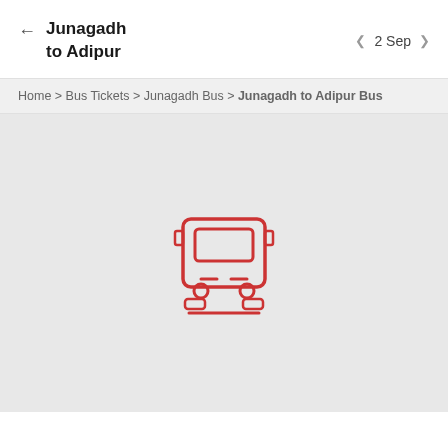Junagadh to Adipur | 2 Sep
Home > Bus Tickets > Junagadh Bus > Junagadh to Adipur Bus
[Figure (illustration): Front-view bus icon in red outline style, centered on a light gray background]